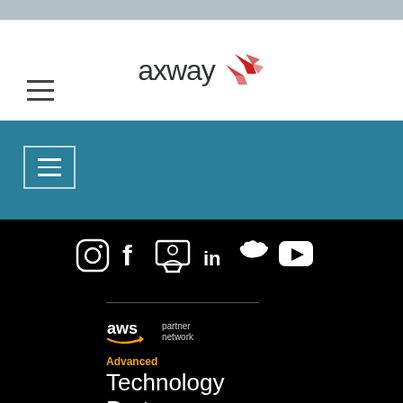[Figure (logo): Axway logo with stylized red arrow/bird icon and 'axway' wordmark in dark gray]
[Figure (screenshot): Teal navigation bar with hamburger menu button]
[Figure (screenshot): Social media icons row on black background: Instagram, Facebook, Twitter/social, LinkedIn, Twitter, YouTube]
[Figure (logo): AWS Partner Network logo - Advanced Technology Partner badge]
Advanced
Technology Partner
Gold
Microsoft Partner